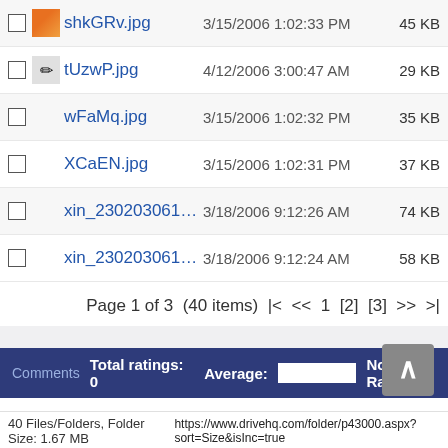shkGRv.jpg  3/15/2006 1:02:33 PM  45 KB
tUzwP.jpg  4/12/2006 3:00:47 AM  29 KB
wFaMq.jpg  3/15/2006 1:02:32 PM  35 KB
XCaEN.jpg  3/15/2006 1:02:31 PM  37 KB
xin_2302030613367...9.jpg  3/18/2006 9:12:26 AM  74 KB
xin_2302030614306...3.jpg  3/18/2006 9:12:24 AM  58 KB
Page 1 of 3  (40 items)  |<  <<  1  [2]  [3]  >>  >|
Comments   Total ratings: 0   Average:   Not Rated
Would you like to comment?
Join DriveHQ for a free account, or Logon if you are already a member.
40 Files/Folders, Folder Size: 1.67 MB    https://www.drivehq.com/folder/p43000.aspx?sort=Size&isInc=true